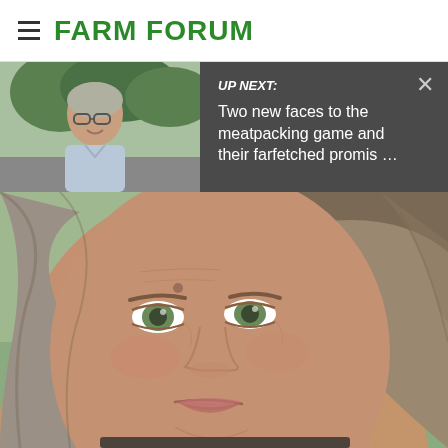FARM FORUM
UP NEXT: Two new faces to the meatpacking game and their farfetched promis …
[Figure (photo): Thumbnail photo of a middle-aged man with glasses and gray hair, smiling, outdoors with trees in background]
[Figure (photo): Close-up portrait photo of a middle-aged woman with long gray hair, green eyes, and a gentle smile]